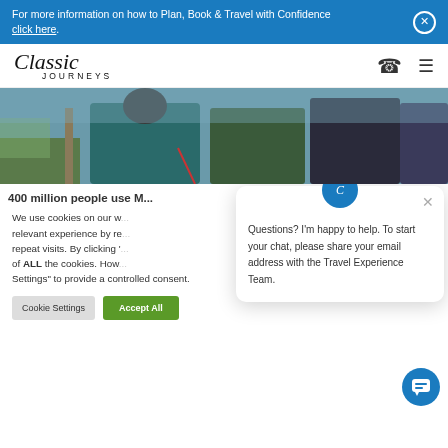For more information on how to Plan, Book & Travel with Confidence click here.
[Figure (logo): Classic Journeys logo with phone and hamburger menu icons]
[Figure (photo): People in winter jackets outdoors, cropped to torso level]
400 million people use M...
We use cookies on our w... relevant experience by re... repeat visits. By clicking '... of ALL the cookies. How... Settings" to provide a controlled consent.
Cookie Settings   Accept All
Questions? I'm happy to help. To start your chat, please share your email address with the Travel Experience Team.